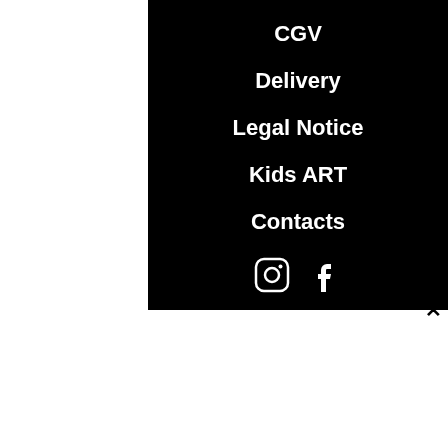CGV
Delivery
Legal Notice
Kids ART
Contacts
[Figure (other): Social media icons: Instagram and Facebook]
We use cookies and similar technologies to enable services and features on our site and to understand your interaction with our service. By clicking Accept, you agree to our use of these technologies for marketing and analytical purposes. View privacy policy
Cookie settings
Accept